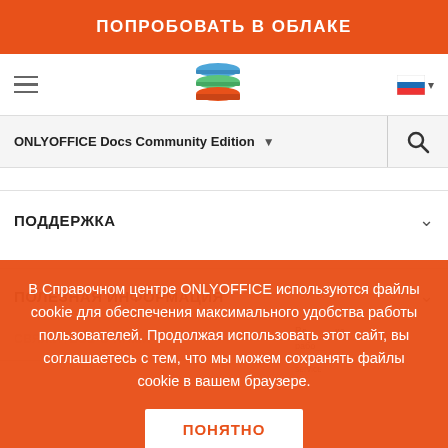ПОПРОБОВАТЬ В ОБЛАКЕ
[Figure (logo): ONLYOFFICE stacked layers logo in blue, green, and orange]
ONLYOFFICE Docs Community Edition ▾
ПОДДЕРЖКА
ПОЛЕЗНАЯ ИНФОРМАЦИЯ
В Справочном центре ONLYOFFICE используются файлы cookie для обеспечения максимального удобства работы пользователей. Продолжая использовать этот сайт, вы соглашаетесь с тем, что мы можем сохранять файлы cookie в вашем браузере.
ПОНЯТНО